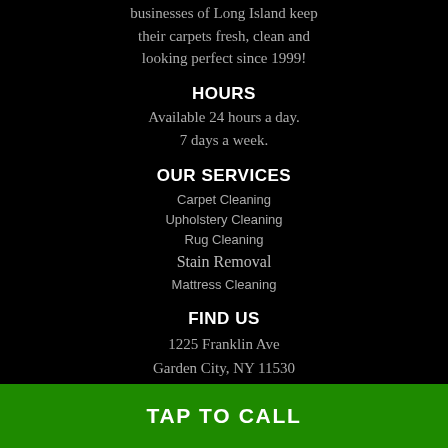businesses of Long Island keep their carpets fresh, clean and looking perfect since 1999!
HOURS
Available 24 hours a day.
7 days a week.
OUR SERVICES
Carpet Cleaning
Upholstery Cleaning
Rug Cleaning
Stain Removal
Mattress Cleaning
FIND US
1225 Franklin Ave
Garden City, NY 11530
Tel: (631) 212-0900
SERVICE AREA:
TAP TO CALL